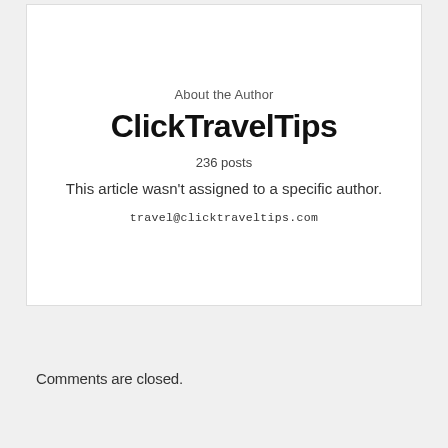About the Author
ClickTravelTips
236 posts
This article wasn't assigned to a specific author.
travel@clicktraveltips.com
Comments are closed.